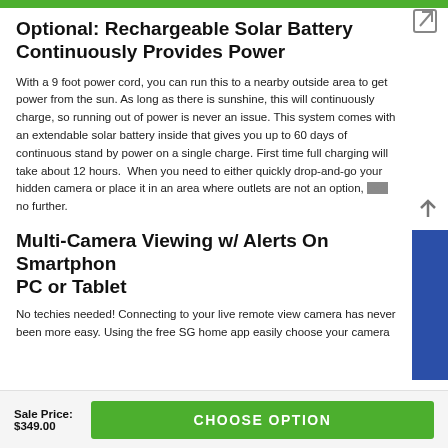Optional: Rechargeable Solar Battery Continuously Provides Power
With a 9 foot power cord, you can run this to a nearby outside area to get power from the sun. As long as there is sunshine, this will continuously charge, so running out of power is never an issue. This system comes with an extendable solar battery inside that gives you up to 60 days of continuous stand by power on a single charge. First time full charging will take about 12 hours.  When you need to either quickly drop-and-go your hidden camera or place it in an area where outlets are not an option, look no further.
Multi-Camera Viewing w/ Alerts On Smartphone PC or Tablet
No techies needed! Connecting to your live remote view camera has never been more easy. Using the free SG home app easily choose your camera
Sale Price: $349.00
CHOOSE OPTION